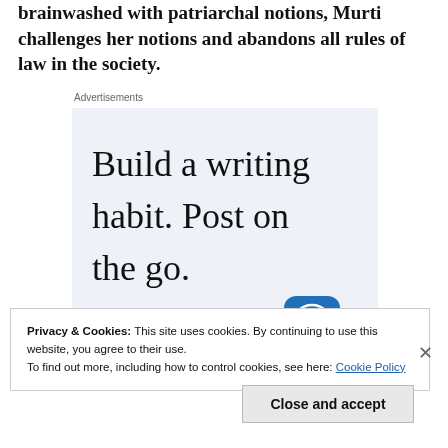brainwashed with patriarchal notions, Murti challenges her notions and abandons all rules of law in the society.
Advertisements
[Figure (screenshot): Advertisement banner with text 'Build a writing habit. Post on the go.' and 'GET THE APP' with WordPress logo on a light blue background.]
Privacy & Cookies: This site uses cookies. By continuing to use this website, you agree to their use.
To find out more, including how to control cookies, see here: Cookie Policy
Close and accept